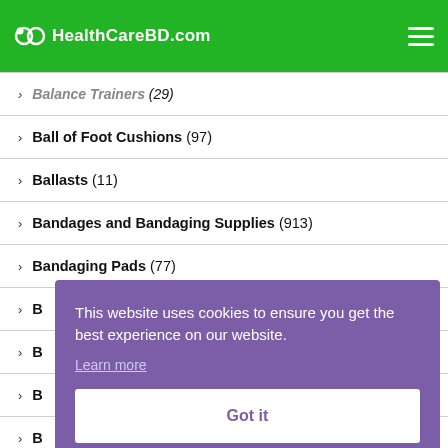HealthCareBD.com
Balance Trainers (29)
Ball of Foot Cushions (97)
Ballasts (11)
Bandages and Bandaging Supplies (913)
Bandaging Pads (77)
B...
B...
B...
B...
B...
This website uses cookies to ensure you get the best experience on our website. Learn more Got it